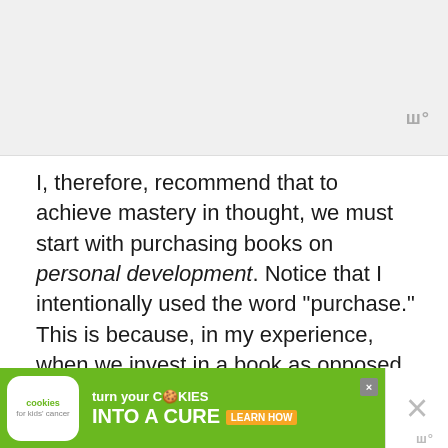I, therefore, recommend that to achieve mastery in thought, we must start with purchasing books on personal development. Notice that I intentionally used the word “purchase.” This is because, in my experience, when we invest in a book as opposed to borrowing, we are more likely to actually invest ourselves into the book.
[Figure (other): Advertisement banner for Cookies for Kids' Cancer: 'turn your COOKIES into a CURE LEARN HOW']